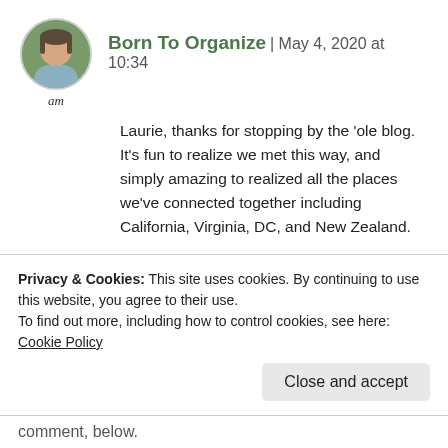[Figure (photo): Circular profile photo of a woman with short hair, with the label 'am' below it]
Born To Organize | May 4, 2020 at 10:34
Laurie, thanks for stopping by the ‘ole blog. It’s fun to realize we met this way, and simply amazing to realized all the places we’ve connected together including California, Virginia, DC, and New Zealand.
It is fun remembering past blogs. Thanks for organizing our Zoom this weekend. It’s exactly what I needed. xo
★ Like
Privacy & Cookies: This site uses cookies. By continuing to use this website, you agree to their use.
To find out more, including how to control cookies, see here: Cookie Policy
Close and accept
comment, below.